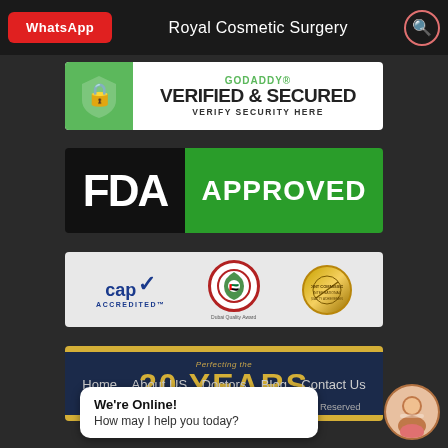WhatsApp | Royal Cosmetic Surgery
[Figure (logo): GoDaddy Verified & Secured badge with green shield lock icon]
[Figure (logo): FDA Approved badge - black left panel with FDA text, green right panel with APPROVED text]
[Figure (logo): CAP Accredited logo, Dubai Health Authority circular logo, JCI gold medal]
[Figure (logo): 20 Years Perfecting the Art of Beauty banner on navy/gold background]
Home  About US  Doctors  Blog  Contact Us
Copyright 2019 @ Royal Cosmetic Surgery - All Rights Reserved - Disclaimer
We're Online! How may I help you today?